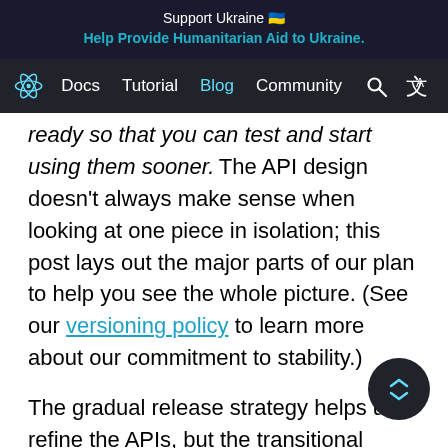Support Ukraine 🇺🇦
Help Provide Humanitarian Aid to Ukraine.
Docs  Tutorial  Blog  Community
ready so that you can test and start using them sooner. The API design doesn't always make sense when looking at one piece in isolation; this post lays out the major parts of our plan to help you see the whole picture. (See our versioning policy to learn more about our commitment to stability.)
The gradual release strategy helps us refine the APIs, but the transitional period when some things aren't ready can be confusing. Let's look at what these different features mean for your app, how they relate to each other, and when you can expect to start learning and using them.